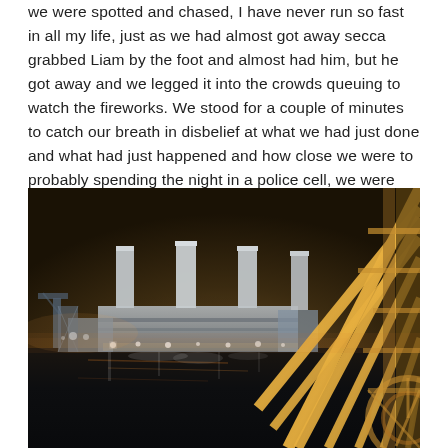we were spotted and chased, I have never run so fast in all my life, just as we had almost got away secca grabbed Liam by the foot and almost had him, but he got away and we legged it into the crowds queuing to watch the fireworks. We stood for a couple of minutes to catch our breath in disbelief at what we had just done and what had just happened and how close we were to probably spending the night in a police cell, we were disappointed we couldn't watch the fireworks from Battersea.
[Figure (photo): Night photograph of Battersea Power Station viewed across the River Thames, with the iconic four chimneys illuminated. In the foreground on the right side, large metal structural elements (possibly from a bridge or crane) are visible in a golden/amber color. The sky has a dark amber-brown glow from city lights. The water reflects the lights of the power station.]